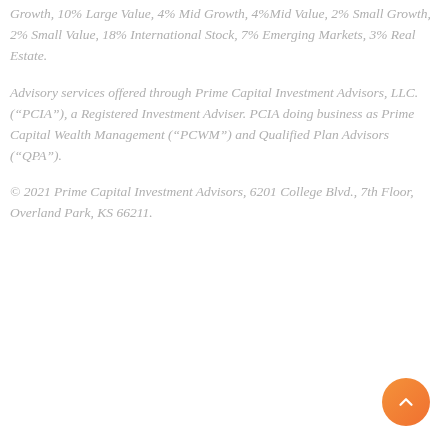Growth, 10% Large Value, 4% Mid Growth, 4%Mid Value, 2% Small Growth, 2% Small Value, 18% International Stock, 7% Emerging Markets, 3% Real Estate.
Advisory services offered through Prime Capital Investment Advisors, LLC. (“PCIA”), a Registered Investment Adviser. PCIA doing business as Prime Capital Wealth Management (“PCWM”) and Qualified Plan Advisors (“QPA”).
© 2021 Prime Capital Investment Advisors, 6201 College Blvd., 7th Floor, Overland Park, KS 66211.